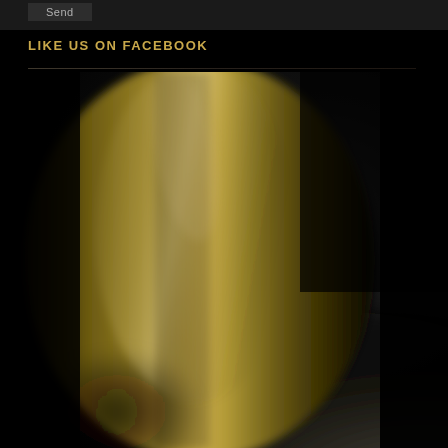[Figure (photo): Dark background with a partially visible button labeled 'Send' in a dark box at top left]
LIKE US ON FACEBOOK
[Figure (photo): Close-up blurred photograph of an olive oil or wine bottle with golden-green color against a dark background, showing the curved glass surface with light reflections]